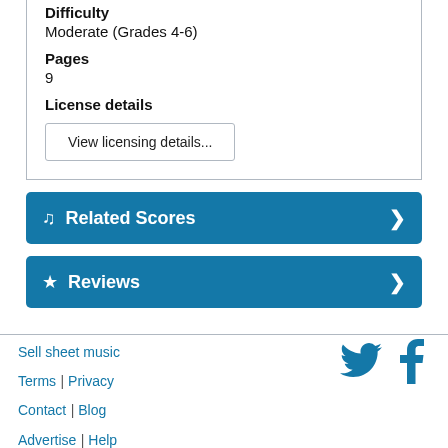Difficulty
Moderate (Grades 4-6)
Pages
9
License details
View licensing details...
Related Scores
Reviews
Sell sheet music | Terms | Privacy | Contact | Blog | Advertise | Help